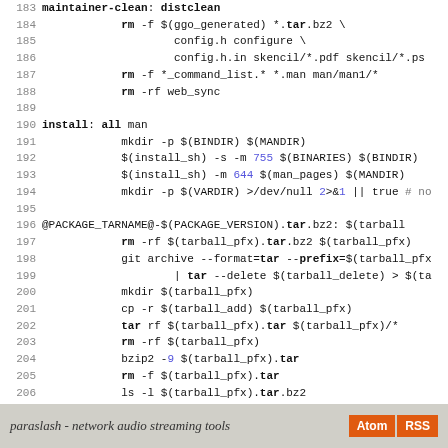Makefile source code lines 183–211 showing maintainer-clean, install, tarball, and ps/pdf rules for paraslash build system
paraslash - network audio streaming tools  [Atom] [RSS]